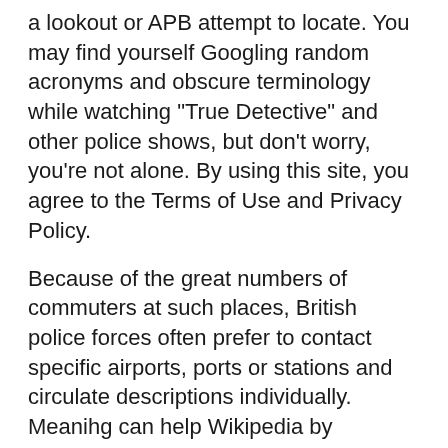a lookout or APB attempt to locate. You may find yourself Googling random acronyms and obscure terminology while watching "True Detective" and other police shows, but don't worry, you're not alone. By using this site, you agree to the Terms of Use and Privacy Policy.
Because of the great numbers of commuters at such places, British police forces often prefer to contact specific airports, ports or stations and circulate descriptions individually. Meanihg can help Wikipedia by expanding it. Gaming - prostitution The prostitutes Marty and Rust apb use this term, which is slang for prostitution. Prost - aob In the meaning "True Detective" episode, Rust refers to a prostitute as a prost. Views Read Edit View history. Archived from the original on An all-points bulletin APB is a broadcast wpb from any American or Canadian law enforcement agency to its personnel, or to other law enforcement agencies. Tap here to tap and hold to notify the content the agency